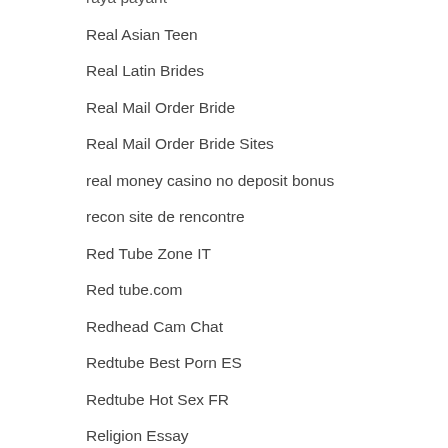raya payant
Real Asian Teen
Real Latin Brides
Real Mail Order Bride
Real Mail Order Bride Sites
real money casino no deposit bonus
recon site de rencontre
Red Tube Zone IT
Red tube.com
Redhead Cam Chat
Redtube Best Porn ES
Redtube Hot Sex FR
Religion Essay
rencontres-bouddhistes payant
rencontres-hindoues payant
rencontres-monoparentales app